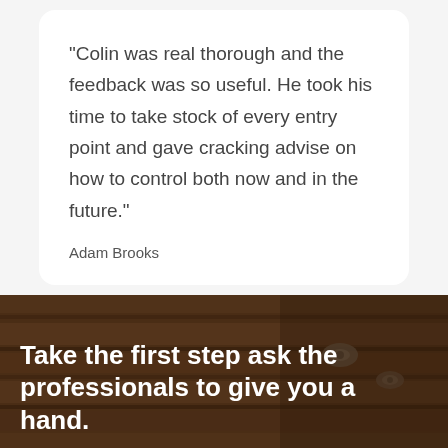"Colin was real thorough and the feedback was so useful. He took his time to take stock of every entry point and gave cracking advise on how to control both now and in the future."
Adam Brooks
[Figure (photo): Dark brown wooden surface with metal hardware, partially obscured by overlay]
Take the first step ask the professionals to give you a hand.